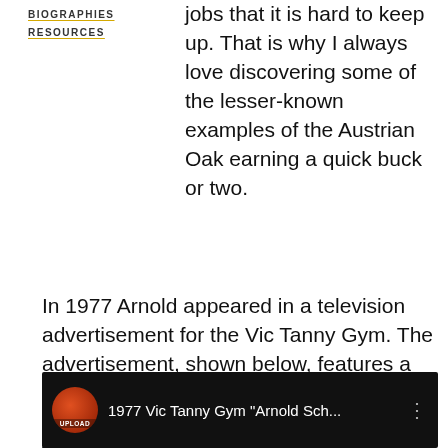BIOGRAPHIES
RESOURCES
jobs that it is hard to keep up. That is why I always love discovering some of the lesser-known examples of the Austrian Oak earning a quick buck or two.
In 1977 Arnold appeared in a television advertisement for the Vic Tanny Gym. The advertisement, shown below, features a young Arnold telling viewers that they, too, can build the body of their dreams. What fascinates me here is the gym in question.
[Figure (screenshot): YouTube video thumbnail with dark background showing a young man's face, with a circular upload icon and title '1977 Vic Tanny Gym "Arnold Sch...' and three-dot menu icon]